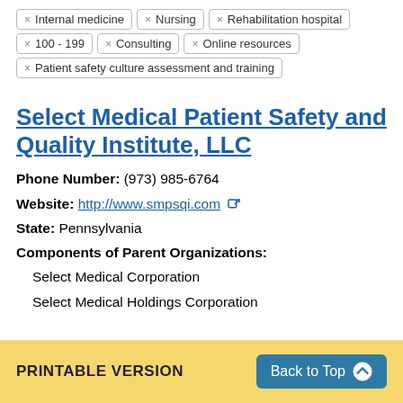× Internal medicine
× Nursing
× Rehabilitation hospital
× 100 - 199
× Consulting
× Online resources
× Patient safety culture assessment and training
Select Medical Patient Safety and Quality Institute, LLC
Phone Number: (973) 985-6764
Website: http://www.smpsqi.com
State: Pennsylvania
Components of Parent Organizations:
Select Medical Corporation
Select Medical Holdings Corporation
PRINTABLE VERSION   Back to Top